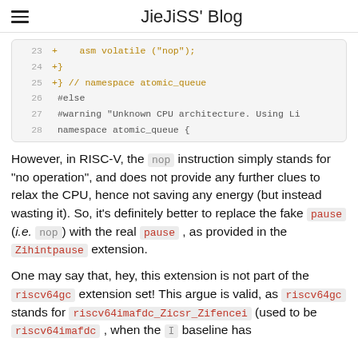JieJiSS' Blog
[Figure (screenshot): Code block showing lines 23-28 of C++ source code with line numbers and syntax highlighting. Lines 23-25 shown in yellow/green (diff additions), lines 26-28 in gray.]
However, in RISC-V, the nop instruction simply stands for "no operation", and does not provide any further clues to relax the CPU, hence not saving any energy (but instead wasting it). So, it's definitely better to replace the fake pause (i.e. nop) with the real pause, as provided in the Zihintpause extension.
One may say that, hey, this extension is not part of the riscv64gc extension set! This argue is valid, as riscv64gc stands for riscv64imafdc_Zicsr_Zifencei (used to be riscv64imafdc, when the I baseline has